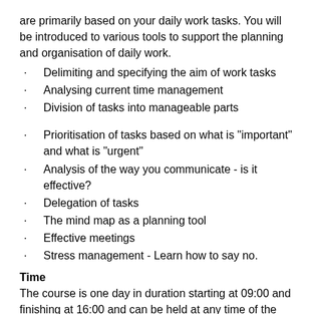are primarily based on your daily work tasks. You will be introduced to various tools to support the planning and organisation of daily work.
Delimiting and specifying the aim of work tasks
Analysing current time management
Division of tasks into manageable parts
Prioritisation of tasks based on what is "important" and what is "urgent"
Analysis of the way you communicate - is it effective?
Delegation of tasks
The mind map as a planning tool
Effective meetings
Stress management - Learn how to say no.
Time
The course is one day in duration starting at 09:00 and finishing at 16:00 and can be held at any time of the year to fit your schedule.
Price